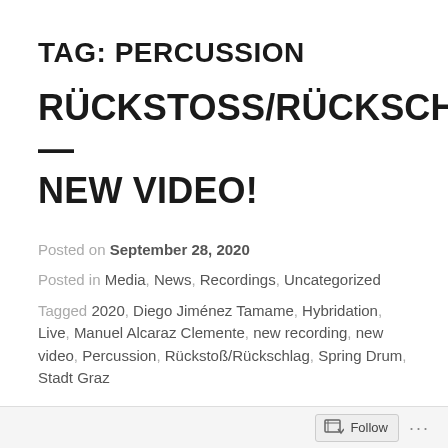TAG: PERCUSSION
RÜCKSTOSS/RÜCKSCHLAG — NEW VIDEO!
Posted on September 28, 2020
Posted in Media, News, Recordings, Uncategorized
Tagged 2020, Diego Jiménez Tamame, Hybridation, Live, Manuel Alcaraz Clemente, new recording, new video, Percussion, Rückstoß/Rückschlag, Spring Drum, Stadt Graz
Follow